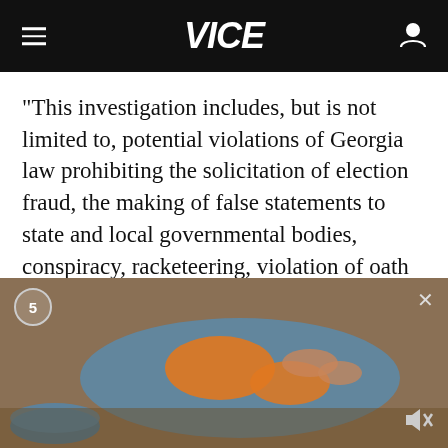VICE
“This investigation includes, but is not limited to, potential violations of Georgia law prohibiting the solicitation of election fraud, the making of false statements to state and local governmental bodies, conspiracy, racketeering, violation of oath of office and any involvement in violence or threats related to the election’s administration,” reads the letter, which was
[Figure (photo): Video overlay thumbnail showing hands folding orange and blue fabric/clothing on a wooden surface, with a blue bowl visible on the left. A countdown badge showing '5' is in the top-left corner and an X close button in the top-right. A mute icon is in the bottom-right.]